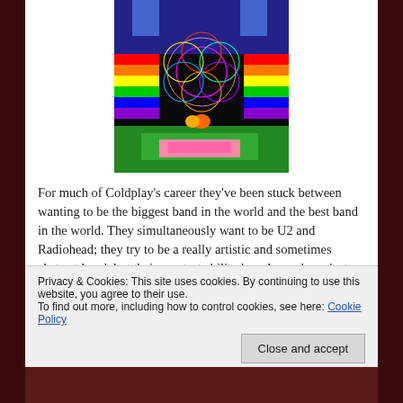[Figure (illustration): Coldplay 'A Head Full of Dreams' album art — colorful psychedelic image with flower of life symbol on black background, surrounded by bright rainbow colors, figures, and nature elements]
For much of Coldplay's career they've been stuck between wanting to be the biggest band in the world and the best band in the world. They simultaneously want to be U2 and Radiohead; they try to be a really artistic and sometimes abstract band, but their greatest ability has always been just
Privacy & Cookies: This site uses cookies. By continuing to use this website, you agree to their use.
To find out more, including how to control cookies, see here: Cookie Policy
Close and accept